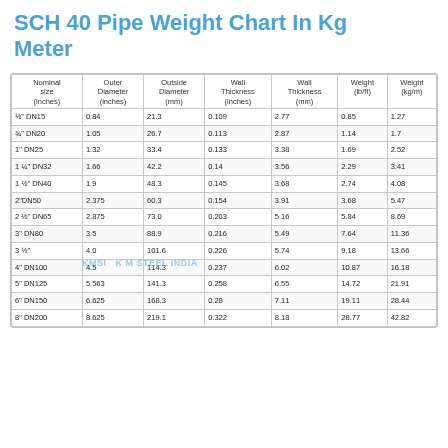SCH 40 Pipe Weight Chart In Kg Meter
| Nominal size (inches) | Outer Diameter (inches) | Outside Diameter (mm) | Wall Thickness (inches) | Wall Thickness (mm) | Weight (lb/ft) | Weight (kg/m) |
| --- | --- | --- | --- | --- | --- | --- |
| ½" DN15 | 0.84 | 21.3 | 0.109 | 2.77 | 0.85 | 1.27 |
| ¾" DN20 | 1.05 | 26.7 | 0.113 | 2.87 | 1.14 | 1.7 |
| 1" DN25 | 1.32 | 33.4 | 0.133 | 3.38 | 1.69 | 2.52 |
| 1 ¼" DN32 | 1.66 | 42.2 | 0.14 | 3.56 | 2.29 | 3.41 |
| 1 ½" DN40 | 1.9 | 48.3 | 0.145 | 3.68 | 2.74 | 4.08 |
| 2" DN50 | 2.375 | 60.3 | 0.154 | 3.91 | 3.68 | 5.47 |
| 2 ½" DN65 | 2.875 | 73.0 | 0.203 | 5.16 | 5.84 | 8.69 |
| 3" DN80 | 3.5 | 88.9 | 0.216 | 5.49 | 7.64 | 11.36 |
| 3 ½" | 4.0 | 101.6 | 0.226 | 5.74 | 9.18 | 13.66 |
| 4" DN100 | 4.5 | 114.3 | 0.237 | 6.02 | 10.87 | 16.18 |
| 5" DN125 | 5.563 | 141.3 | 0.258 | 6.55 | 14.72 | 21.91 |
| 6" DN150 | 6.625 | 168.3 | 0.28 | 7.11 | 19.11 | 28.44 |
| 8" DN200 | 8.625 | 219.1 | 0.322 | 8.18 | 28.77 | 42.82 |